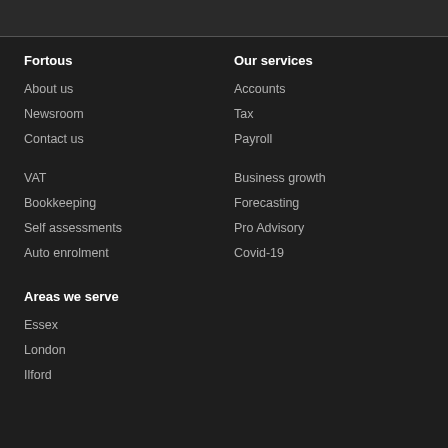Fortous
About us
Newsroom
Contact us
VAT
Bookkeeping
Self assessments
Auto enrolment
Our services
Accounts
Tax
Payroll
Business growth
Forecasting
Pro Advisory
Covid-19
Areas we serve
Essex
London
Ilford